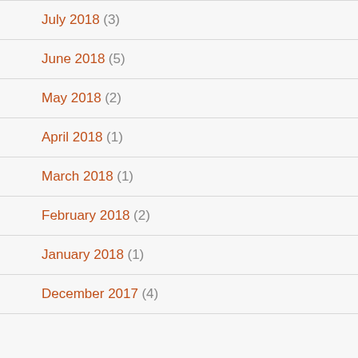July 2018 (3)
June 2018 (5)
May 2018 (2)
April 2018 (1)
March 2018 (1)
February 2018 (2)
January 2018 (1)
December 2017 (4)